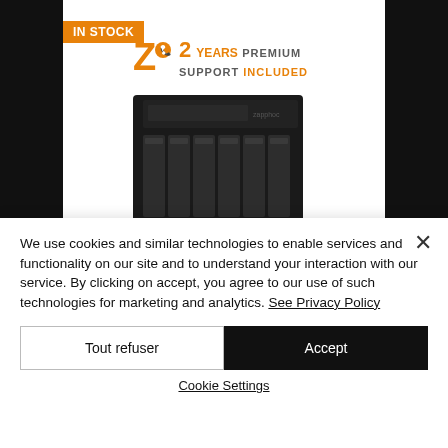[Figure (photo): E-commerce product page screenshot showing a NAS/server device with 'IN STOCK' badge and '2 Years Premium Support Included' logo on a product card. The device is a black tower NAS with multiple drive bays visible.]
We use cookies and similar technologies to enable services and functionality on our site and to understand your interaction with our service. By clicking on accept, you agree to our use of such technologies for marketing and analytics. See Privacy Policy
Tout refuser
Accept
Cookie Settings